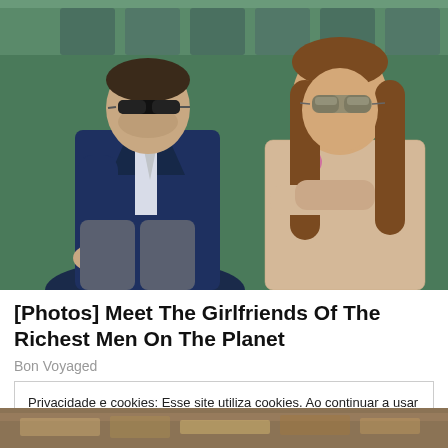[Figure (photo): Two people seated side by side, a man in a navy suit with sunglasses on the left and a young woman with long brown hair wearing a beige lace outfit with a pink flower, both wearing sunglasses, green background suggesting stadium seating]
[Photos] Meet The Girlfriends Of The Richest Men On The Planet
Bon Voyaged
Privacidade e cookies: Esse site utiliza cookies. Ao continuar a usar este site, você concorda com seu uso.
Para saber mais, inclusive sobre como controlar os cookies, consulte aqui: Política de cookies
Fechar e aceitar
[Figure (photo): Partial bottom image showing what appears to be money/dollar bills]